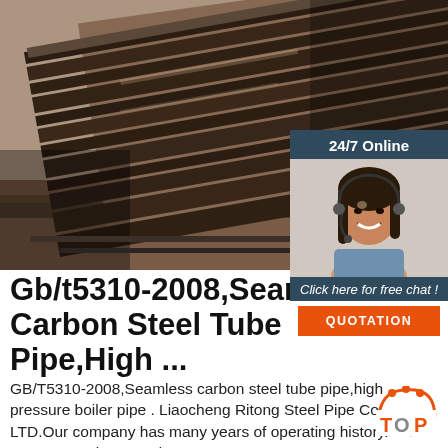[Figure (photo): Stacked dark steel plates/sheets photographed outdoors, showing the layered edges of carbon steel material.]
[Figure (photo): 24/7 Online customer service widget showing a smiling female agent wearing a headset, with a dark blue background header reading '24/7 Online', a 'Click here for free chat!' message, and an orange 'QUOTATION' button.]
Gb/t5310-2008,Seamless Carbon Steel Tube Pipe,High ...
GB/T5310-2008,Seamless carbon steel tube pipe,high pressure boiler pipe . Liaocheng Ritong Steel Pipe Co., LTD.Our company has many years of operating history. We constantly expand
[Figure (logo): Orange and white circular TOP badge/logo in bottom right area.]